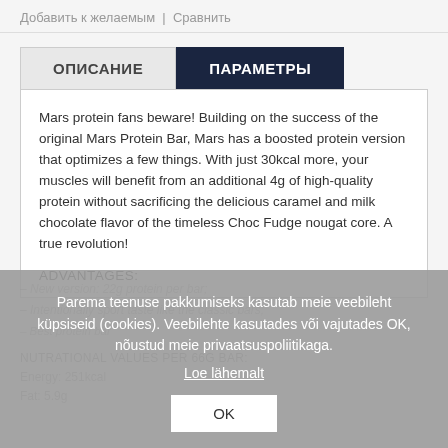Добавить к желаемым | Сравнить
ОПИСАНИЕ | ПАРАМЕТРЫ
Mars protein fans beware! Building on the success of the original Mars Protein Bar, Mars has a boosted protein version that optimizes a few things. With just 30kcal more, your muscles will benefit from an additional 4g of high-quality protein without sacrificing the delicious caramel and milk chocolate flavor of the timeless Choc Fudge nougat core. A true revolution!
ADVANTAGES:
Parema teenuse pakkumiseks kasutab meie veebileht küpsiseid (cookies). Veebilehte kasutades või vajutades OK, nõustud meie privaatsuspoliitikaga.
Loe lähemalt
OK
NUTRATIONAL VALUES PER 66G BAR:
Energy: 251kcal
Fat: 5.9g